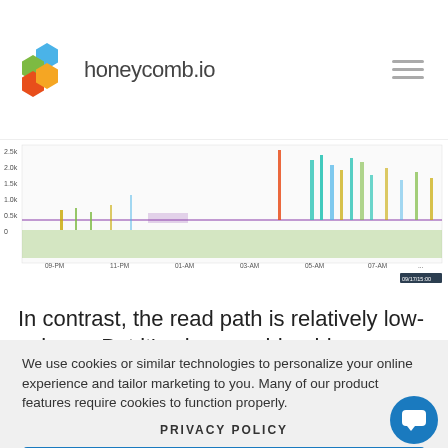honeycomb.io
[Figure (continuous-plot): Time-series chart showing write/read path metrics over time with multiple colored spikes (teal, green, yellow, purple, red) against a purple baseline. X-axis shows time labels from approximately 09-PM to 01-PM. Y-axis shows values from approximately 0 to 2.5k+.]
In contrast, the read path is relatively low-volume. But it's also considerably more
We use cookies or similar technologies to personalize your online experience and tailor marketing to you. Many of our product features require cookies to function properly.
PRIVACY POLICY
ACCEPT ALL COOKIES